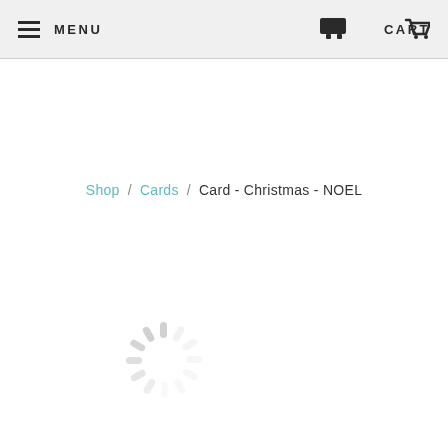MENU   CART
Shop / Cards / Card - Christmas - NOEL
[Figure (illustration): Loading spinner animation showing radiating gray lines in a circular pattern]